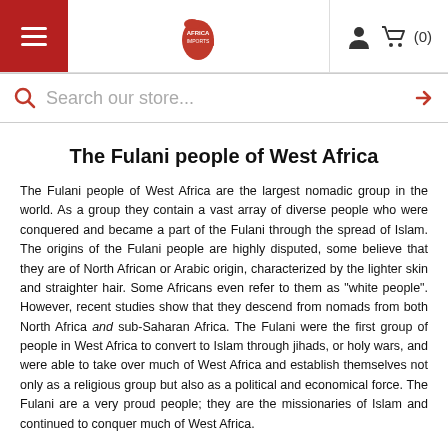Africa Imports — navigation header with hamburger menu, logo, user icon, cart (0)
Search our store...
The Fulani people of West Africa
The Fulani people of West Africa are the largest nomadic group in the world. As a group they contain a vast array of diverse people who were conquered and became a part of the Fulani through the spread of Islam. The origins of the Fulani people are highly disputed, some believe that they are of North African or Arabic origin, characterized by the lighter skin and straighter hair. Some Africans even refer to them as "white people". However, recent studies show that they descend from nomads from both North Africa and sub-Saharan Africa. The Fulani were the first group of people in West Africa to convert to Islam through jihads, or holy wars, and were able to take over much of West Africa and establish themselves not only as a religious group but also as a political and economical force. The Fulani are a very proud people; they are the missionaries of Islam and continued to conquer much of West Africa.